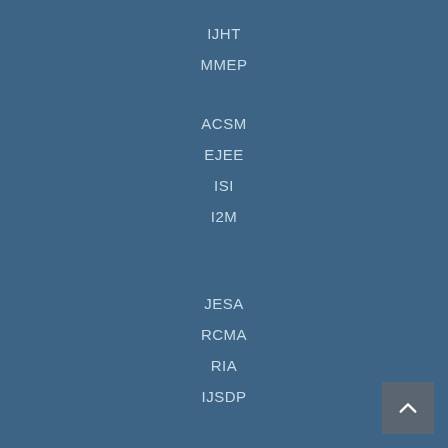IJHT
MMEP
ACSM
EJEE
ISI
I2M
JESA
RCMA
RIA
IJSDP